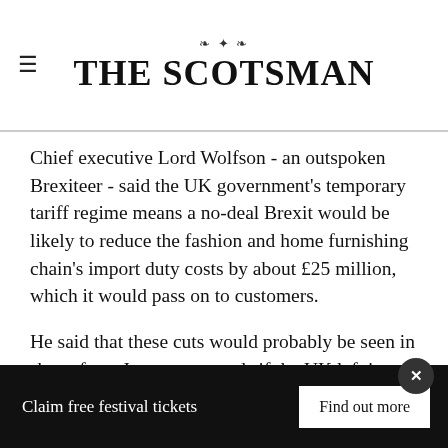THE SCOTSMAN
Chief executive Lord Wolfson - an outspoken Brexiteer - said the UK government's temporary tariff regime means a no-deal Brexit would be likely to reduce the fashion and home furnishing chain's import duty costs by about £25 million, which it would pass on to customers.
He said that these cuts would probably be seen in shops from January onwards if the UK left in a cliff-edge withdrawal on 31 October,
Claim free festival tickets   Find out more